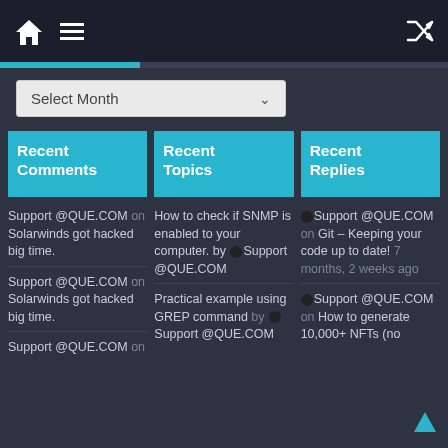Navigation bar with home icon, menu icon, and shuffle icon
Select Month
Recent Comments
Recent Topics
Recent Replies
Support @QUE.COM on Solarwinds got hacked big time.
Support @QUE.COM on Solarwinds got hacked big time.
Support @QUE.COM on
How to check if SNMP is enabled to your computer. by Support @QUE.COM
Practical example using GREP command by Support @QUE.COM
Support @QUE.COM on Git – Keeping your code up to date! 7 months, 2 weeks ago
Support @QUE.COM on How to generate 10,000+ NFTs (no